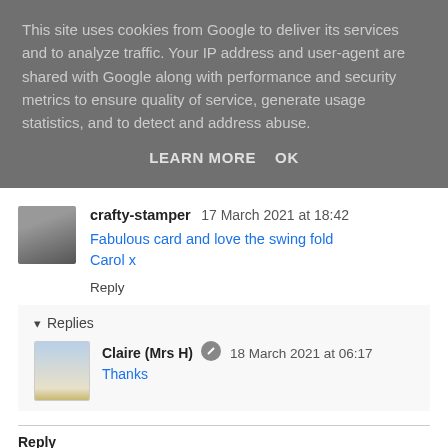This site uses cookies from Google to deliver its services and to analyze traffic. Your IP address and user-agent are shared with Google along with performance and security metrics to ensure quality of service, generate usage statistics, and to detect and address abuse.
LEARN MORE   OK
crafty-stamper  17 March 2021 at 18:42
Fabulous card and love the swing fold
Carol x
Reply
▾ Replies
Claire (Mrs H)  18 March 2021 at 06:17
Thanks
Reply